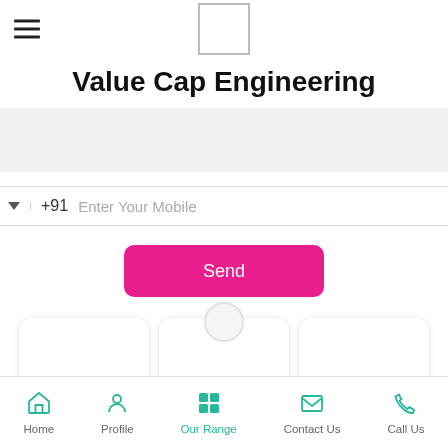[Figure (logo): White square logo box with border]
Value Cap Engineering
[Figure (other): Gray banner/image placeholder area]
+91  Enter Your Mobile
Send
[Figure (other): Three product card thumbnails partially visible]
Home  Profile  Our Range  Contact Us  Call Us